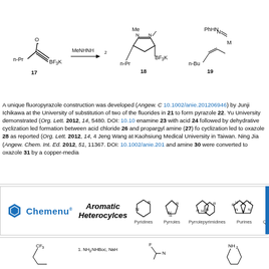[Figure (schematic): Chemical reaction scheme showing compound 17 (n-Pr substituted ynone with BF3K group) reacting with MeNHNH2 to give compound 18 (N-methyl pyrazole with BF3K and n-Pr groups) and compound 19 (hydrazone with PhHN, n-Bu, and M groups)]
A unique fluoropyrazole construction was developed (Angew. C 10.1002/anie.201206946) by Junji Ichikawa at the University of substitution of two of the fluorides in 21 to form pyrazole 22. Yu University demonstrated (Org. Lett. 2012, 14, 5480. DOI: 10.10 enamine 23 with acid 24 followed by dehydrative cyclization led formation between acid chloride 26 and propargyl amine (27) fo cyclization led to oxazole 28 as reported (Org. Lett. 2012, 14, 4 Jeng Wang at Kaohsiung Medical University in Taiwan. Ning Jia (Angew. Chem. Int. Ed. 2012, 51, 11367. DOI: 10.1002/anie.201 and amine 30 were converted to oxazole 31 by a copper-media
[Figure (advertisement): Chemenu advertisement for Aromatic Heterocycles showing structures of Pyridines, Pyrroles, Pyrrolepyrimidines, Purines, and Quinazolines]
[Figure (schematic): Bottom chemical structures showing CF3-containing compound, F-containing compound with NH2NHBoc NaH reagent, and NH2 compound]